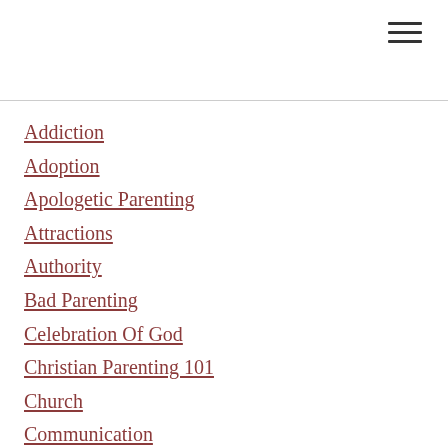[Figure (other): Hamburger menu icon (three horizontal lines) in top-right corner]
Addiction
Adoption
Apologetic Parenting
Attractions
Authority
Bad Parenting
Celebration Of God
Christian Parenting 101
Church
Communication
Counseling
Culture
Daily Life
Devotional
Discipleship
Discipline